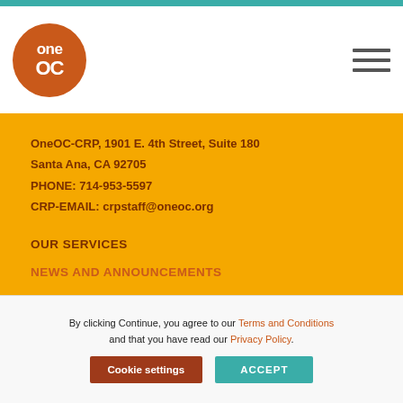[Figure (logo): OneOC circular logo with orange background and white text]
OneOC-CRP, 1901 E. 4th Street, Suite 180
Santa Ana, CA 92705
PHONE: 714-953-5597
CRP-EMAIL: crpstaff@oneoc.org
OUR SERVICES
NEWS AND ANNOUNCEMENTS
CONTACT US
By clicking Continue, you agree to our Terms and Conditions and that you have read our Privacy Policy.